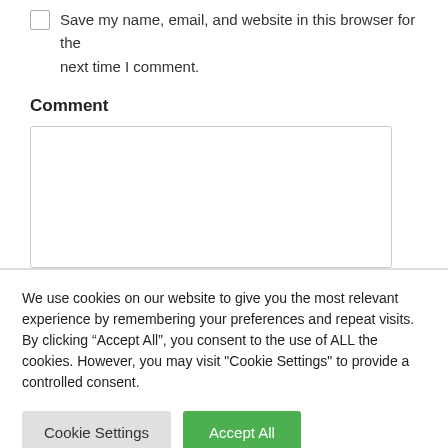Save my name, email, and website in this browser for the next time I comment.
Comment
[Figure (screenshot): Empty comment text area input box with light gray border]
We use cookies on our website to give you the most relevant experience by remembering your preferences and repeat visits. By clicking “Accept All”, you consent to the use of ALL the cookies. However, you may visit "Cookie Settings" to provide a controlled consent.
Cookie Settings   Accept All